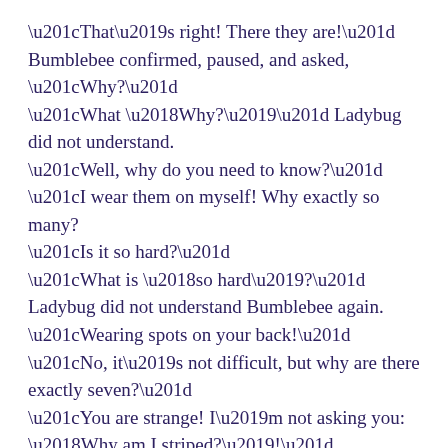“That’s right! There they are!” Bumblebee confirmed, paused, and asked, “Why?” “What ‘Why?’” Ladybug did not understand. “Well, why do you need to know?” “I wear them on myself! Why exactly so many? “Is it so hard?” “What is ‘so hard’?” Ladybug did not understand Bumblebee again. “Wearing spots on your back!” “No, it’s not difficult, but why are there exactly seven?” “You are strange! I’m not asking you: ‘Why am I striped?’!” “Why not?” Ladybug was surprised. Bumblebee grabbed his head with his paws, “O-oo . . . because I don’t care! Isn’t it clear?”